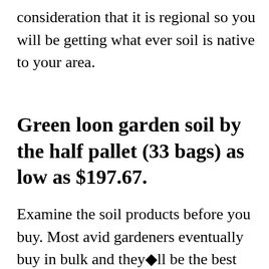consideration that it is regional so you will be getting what ever soil is native to your area.
Green loon garden soil by the half pallet (33 bags) as low as $197.67.
Examine the soil products before you buy. Most avid gardeners eventually buy in bulk and they■ll be the best judges. If you live in an area with lots of trees you will get good woody soil and if [CLOSE X] in south texas